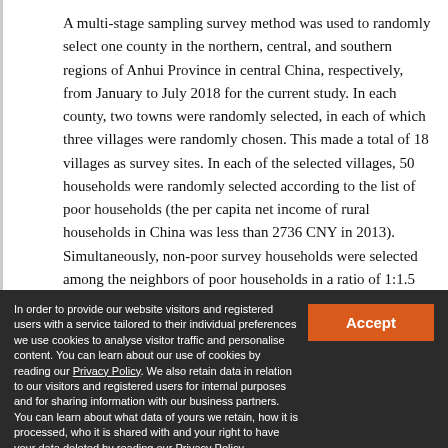A multi-stage sampling survey method was used to randomly select one county in the northern, central, and southern regions of Anhui Province in central China, respectively, from January to July 2018 for the current study. In each county, two towns were randomly selected, in each of which three villages were randomly chosen. This made a total of 18 villages as survey sites. In each of the selected villages, 50 households were randomly selected according to the list of poor households (the per capita net income of rural households in China was less than 2736 CNY in 2013). Simultaneously, non-poor survey households were selected among the neighbors of poor households in a ratio of 1:1.5
In order to provide our website visitors and registered users with a service tailored to their individual preferences we use cookies to analyse visitor traffic and personalise content. You can learn about our use of cookies by reading our Privacy Policy. We also retain data in relation to our visitors and registered users for internal purposes and for sharing information with our business partners. You can learn about what data of yours we retain, how it is processed, who it is shared with and your right to have your data deleted by reading our Privacy Policy.
If you agree to our use of cookies and the contents of our Privacy Policy please click 'accept'.